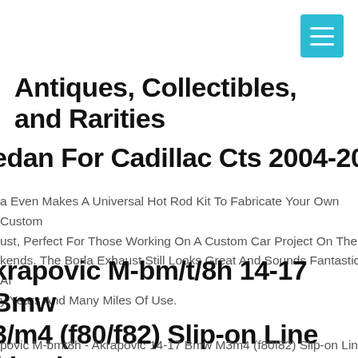[Figure (other): Teal/cyan hamburger menu button icon in top-right corner]
Antiques, Collectibles, and Rarities
edan For Cadillac Cts 2004-2007
a Even Makes A Universal Hot Rod Kit To Fabricate Your Own Custom ust, Perfect For Those Working On A Custom Car Project On The kends. The Borla Exhaust Still Looks Great And Sounds Fantastic Af y Years And Many Miles Of Use.
krapovic M-bm/t/8h 14-17 Bmw 3/m4 (f80/f82) Slip-on Line (titanium eq. Tips
povic M-bmt8h - Akrapovic 14-17 Bmw M3m4 (f80f82) Slip-on Line nium) (req. Akrapovic M-bmt8h 14-17 Bmw M3m4 (f80f82) Slip-on Li